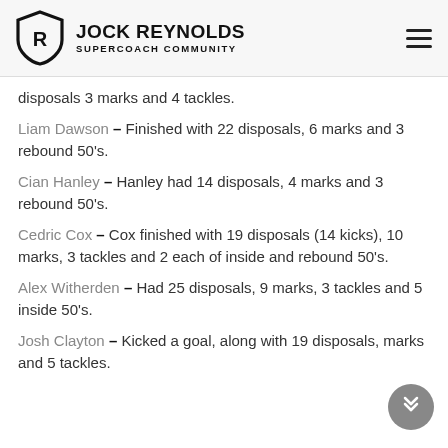JOCK REYNOLDS SUPERCOACH COMMUNITY
disposals 3 marks and 4 tackles.
Liam Dawson – Finished with 22 disposals, 6 marks and 3 rebound 50's.
Cian Hanley – Hanley had 14 disposals, 4 marks and 3 rebound 50's.
Cedric Cox – Cox finished with 19 disposals (14 kicks), 10 marks, 3 tackles and 2 each of inside and rebound 50's.
Alex Witherden – Had 25 disposals, 9 marks, 3 tackles and 5 inside 50's.
Josh Clayton – Kicked a goal, along with 19 disposals, marks and 5 tackles.